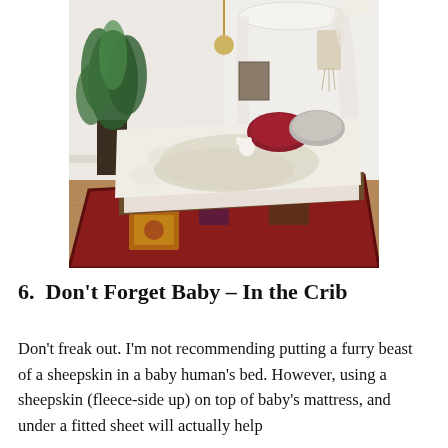[Figure (photo): A bohemian-style bedroom with a low platform bed on the floor covered in white fluffy sheepskin throws and white bedding. Red velvet pillows are on top. A white sheer canopy hangs from the ceiling above the bed. A large potted tropical plant sits in the back left corner. A colorful red Persian rug is under and around the bed. Warm wooden floor visible.]
6.  Don't Forget Baby – In the Crib
Don't freak out. I'm not recommending putting a furry beast of a sheepskin in a baby human's bed. However, using a sheepskin (fleece-side up) on top of baby's mattress, and under a fitted sheet will actually help...